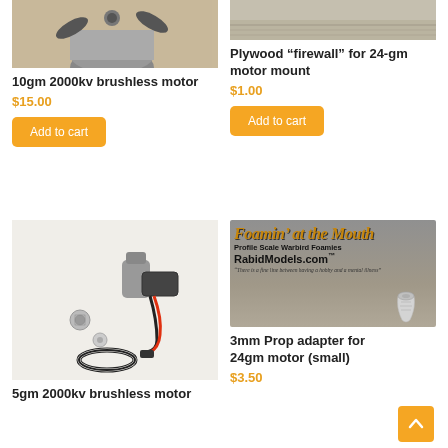[Figure (photo): Top portion of a brushless motor with metal casing visible, cropped at top]
10gm 2000kv brushless motor
$15.00
Add to cart
[Figure (photo): Partial image of plywood firewall motor mount, cropped at top]
Plywood “firewall” for 24-gm motor mount
$1.00
Add to cart
[Figure (photo): 5gm brushless motor with ESC, prop adapter parts, and rubber O-ring on white background]
5gm 2000kv brushless motor
[Figure (photo): Foamin' at the Mouth banner: Profile Scale Warbird Foamies, RabidModels.com, with a silver prop adapter]
3mm Prop adapter for 24gm motor (small)
$3.50